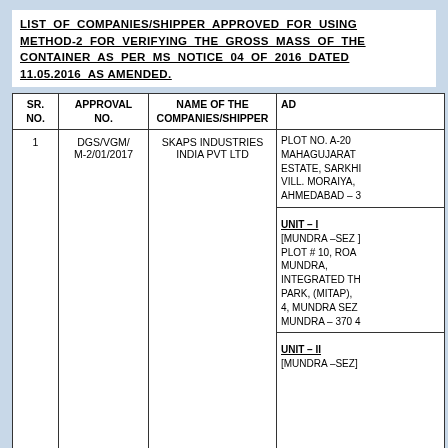LIST OF COMPANIES/SHIPPER APPROVED FOR USING METHOD-2 FOR VERIFYING THE GROSS MASS OF THE CONTAINER AS PER MS NOTICE 04 OF 2016 DATED 11.05.2016 AS AMENDED.
| SR. NO. | APPROVAL NO. | NAME OF THE COMPANIES/SHIPPER | AD |
| --- | --- | --- | --- |
| 1 | DGS/VGM/ M-2/01/2017 | SKAPS INDUSTRIES INDIA PVT LTD | PLOT NO. A-20 MAHAGUJARAT ESTATE, SARKHI VILL. MORAIYA, AHMEDABAD – 3 | UNIT – I [MUNDRA –SEZ ] PLOT # 10, ROA MUNDRA, INTEGRATED TH PARK, (MITAP), 4, MUNDRA SEZ MUNDRA – 370 4 | UNIT – II [MUNDRA –SEZ] |